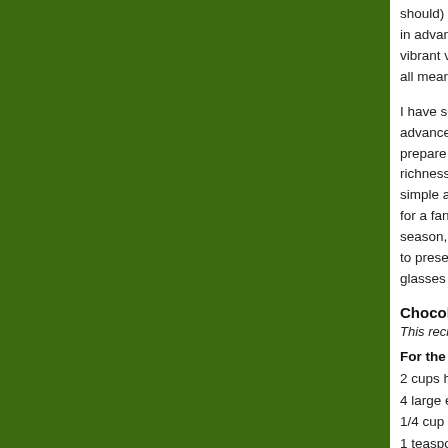[Figure (illustration): Large dark green rectangular panel on the left side of the page]
should) marinate overnight or well in advance.  (Fresh herbs bring more vibrant versions of these flavors — by all means, choose
I have several fall-b... advance. A favorite... prepare the mouss... richness begs for s... simple and plain fo... for a fancier event.... season, while in th... to present the mou... glasses can fill a tr...
Chocolate Mouss
This recipe may ea
For the chocolate
2 cups heavy crea
4 large egg yolks
1/4 cup granulated
1 teaspoon vanilla
5 ounces (150 gra